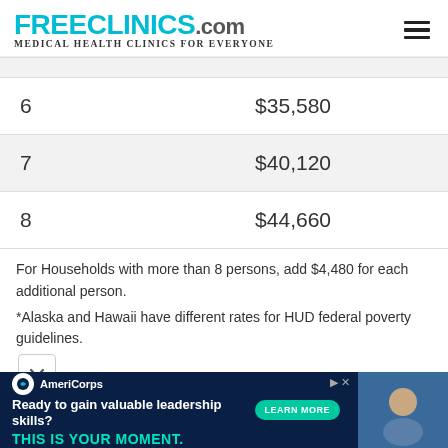FREECLINICS.COM - Medical Health Clinics For Everyone
| Household Size | Income Limit |
| --- | --- |
| 6 | $35,580 |
| 7 | $40,120 |
| 8 | $44,660 |
For Households with more than 8 persons, add $4,480 for each additional person.
*Alaska and Hawaii have different rates for HUD federal poverty guidelines.
[Figure (other): AmeriCorps advertisement banner: 'Ready to gain valuable leadership skills? THIS IS YOUR MOMENT.' with LEARN MORE button]